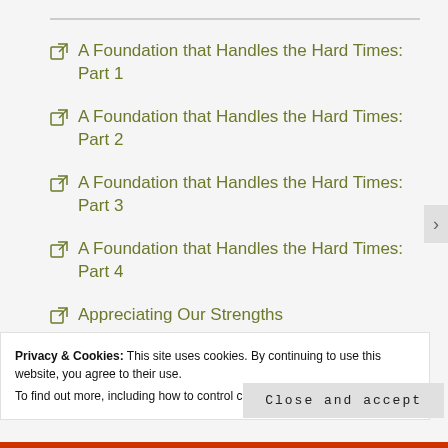A Foundation that Handles the Hard Times: Part 1
A Foundation that Handles the Hard Times: Part 2
A Foundation that Handles the Hard Times: Part 3
A Foundation that Handles the Hard Times: Part 4
Appreciating Our Strengths
Art and Me... And Maybe You?
Privacy & Cookies: This site uses cookies. By continuing to use this website, you agree to their use.
To find out more, including how to control cookies, see here: Cookie Policy
Close and accept